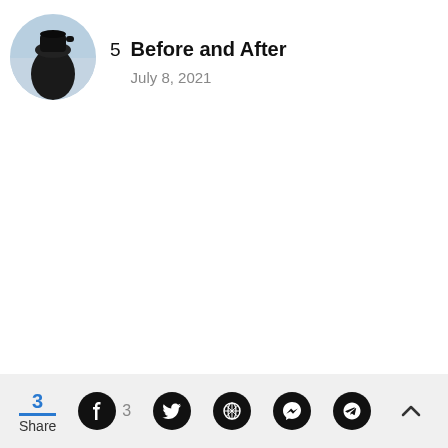[Figure (photo): Circular thumbnail image of a dark protein shaker bottle against a light blue background]
5  Before and After
July 8, 2021
3 Share  [Facebook] 3  [Twitter]  [Pinterest]  [WhatsApp]  [Messenger]  [chevron up]